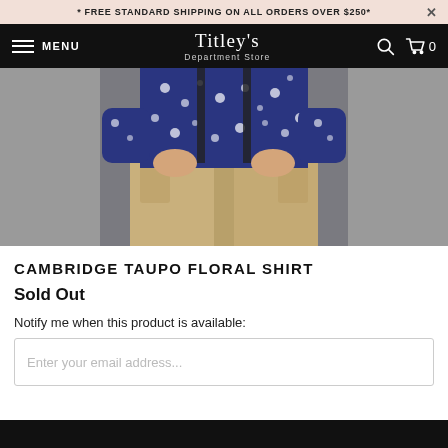* FREE STANDARD SHIPPING ON ALL ORDERS OVER $250*
[Figure (screenshot): Titley's Department Store navigation bar with hamburger menu, store name logo, search icon, and cart (0)]
[Figure (photo): Person wearing a navy blue floral shirt and khaki pants, hands in pockets, against a grey background]
CAMBRIDGE TAUPO FLORAL SHIRT
Sold Out
Notify me when this product is available:
Enter your email address...